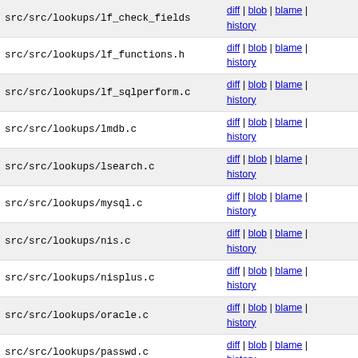| path | links |
| --- | --- |
| src/src/lookups/lf_check_fields | diff | blob | blame | history |
| src/src/lookups/lf_functions.h | diff | blob | blame | history |
| src/src/lookups/lf_sqlperform.c | diff | blob | blame | history |
| src/src/lookups/lmdb.c | diff | blob | blame | history |
| src/src/lookups/lsearch.c | diff | blob | blame | history |
| src/src/lookups/mysql.c | diff | blob | blame | history |
| src/src/lookups/nis.c | diff | blob | blame | history |
| src/src/lookups/nisplus.c | diff | blob | blame | history |
| src/src/lookups/oracle.c | diff | blob | blame | history |
| src/src/lookups/passwd.c | diff | blob | blame | history |
| src/src/lookups/pgsql.c | diff | blob | blame | history |
| src/src/lookups/redis.c | diff | blob | blame | history |
| src/src/lookups/sqlite.c | diff | blob | blame | history |
| src/src/lookups/testdb.c | diff | blob | blame | history |
| src/src/lookups/whoson.c | diff | blob | blame | history |
| src/src/macro_predef.c | diff | blob | blame | history |
| src/src/macros.h | diff | blob | blame | history |
| src/src/malware.c | diff | blob | blame | history |